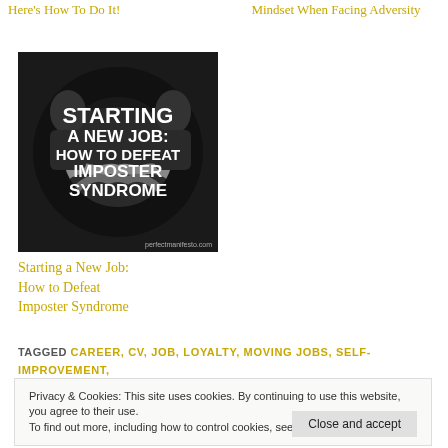Here's How To Do It!
Mindset When Facing Adversity
[Figure (illustration): Book cover style image with dark background showing two people shaking hands, with bold white text: STARTING A NEW JOB: HOW TO DEFEAT IMPOSTER SYNDROME, perfectmanifesto.com]
Starting a New Job: How to Defeat Imposter Syndrome
TAGGED CAREER, CV, JOB, LOYALTY, MOVING JOBS, SELF-IMPROVEMENT, WELLBEING, WORK
Privacy & Cookies: This site uses cookies. By continuing to use this website, you agree to their use.
To find out more, including how to control cookies, see here: Cookie Policy
Close and accept